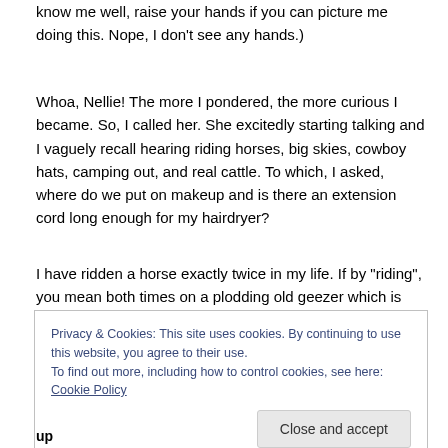know me well, raise your hands if you can picture me doing this. Nope, I don't see any hands.)
Whoa, Nellie! The more I pondered, the more curious I became. So, I called her. She excitedly starting talking and I vaguely recall hearing riding horses, big skies, cowboy hats, camping out, and real cattle. To which, I asked, where do we put on makeup and is there an extension cord long enough for my hairdryer?
I have ridden a horse exactly twice in my life. If by "riding", you mean both times on a plodding old geezer which is
Privacy & Cookies: This site uses cookies. By continuing to use this website, you agree to their use.
To find out more, including how to control cookies, see here: Cookie Policy
Close and accept
up